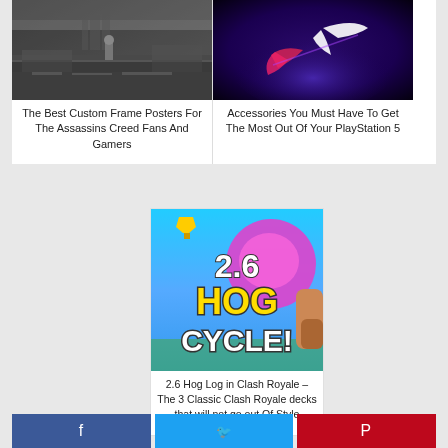[Figure (photo): Assassins Creed character standing on stone ruins in foggy dark atmosphere]
The Best Custom Frame Posters For The Assassins Creed Fans And Gamers
[Figure (photo): PlayStation logo glowing white on dark purple/blue background]
Accessories You Must Have To Get The Most Out Of Your PlayStation 5
[Figure (photo): 2.6 Hog Cycle Clash Royale game thumbnail with gold and white bold text]
2.6 Hog Log in Clash Royale – The 3 Classic Clash Royale decks that will not go out Of Style